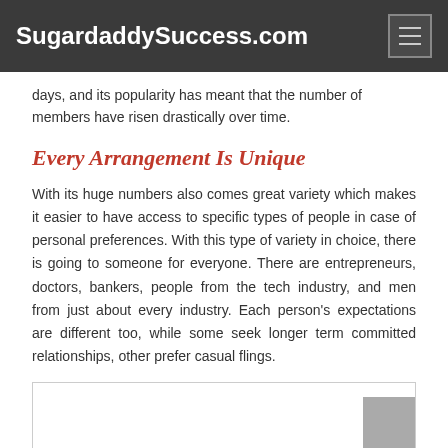SugardaddySuccess.com
days, and its popularity has meant that the number of members have risen drastically over time.
Every Arrangement Is Unique
With its huge numbers also comes great variety which makes it easier to have access to specific types of people in case of personal preferences. With this type of variety in choice, there is going to someone for everyone. There are entrepreneurs, doctors, bankers, people from the tech industry, and men from just about every industry. Each person’s expectations are different too, while some seek longer term committed relationships, other prefer casual flings.
[Figure (photo): Partially visible image box with gray overlay in bottom-right corner]